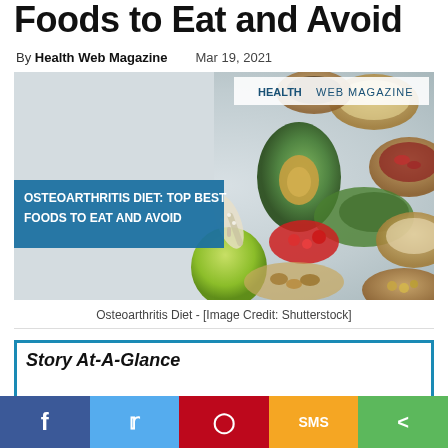Foods to Eat and Avoid
By Health Web Magazine   Mar 19, 2021
[Figure (photo): Hero image showing various food bowls with grains, nuts, avocado, apple, greens, and spices arranged on a surface. Blue overlay text reads: OSTEOARTHRITIS DIET: TOP BEST FOODS TO EAT AND AVOID. Top right: HEALTH WEB MAGAZINE logo.]
Osteoarthritis Diet - [Image Credit: Shutterstock]
Story At-A-Glance